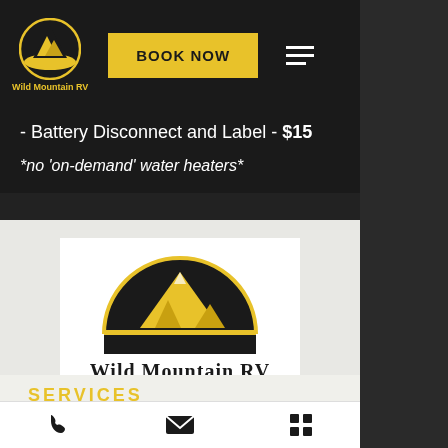[Figure (logo): Wild Mountain RV logo in navbar - yellow mountain/semicircle icon with text]
BOOK NOW
- Battery Disconnect and Label - $15
*no 'on-demand' water heaters*
[Figure (logo): Wild Mountain RV large logo - black semicircle with yellow mountain peaks, text 'Wild Mountain RV' below]
SERVICES
REPAIRS
MAINTENANCE
CLEANING
INSURANCE